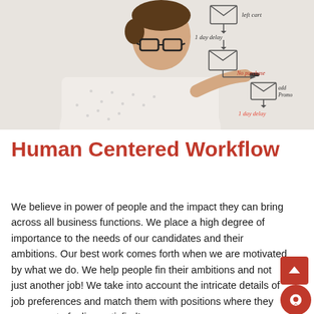[Figure (photo): A man with glasses writing a workflow diagram on a whiteboard. The diagram shows email/envelope icons connected with arrows, with text labels including 'left cart', '1 day delay', 'No purchase', 'add promo', and '1 day delay'.]
Human Centered Workflow
We believe in power of people and the impact they can bring across all business functions. We place a high degree of importance to the needs of our candidates and their ambitions. Our best work comes forth when we are motivated by what we do. We help people find their ambitions and not just another job! We take into account the intricate details of job preferences and match them with positions where they can operate feeling satisfied!
People are and will always remain the epicenter of an organization...